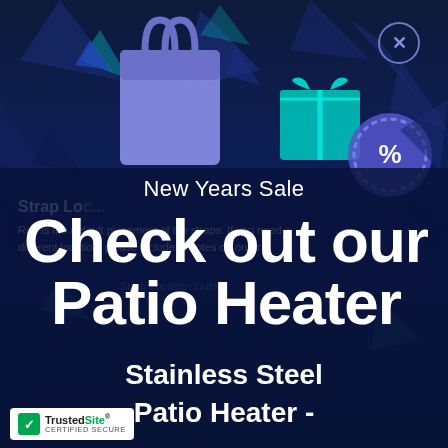[Figure (screenshot): Screenshot of a webpage showing 'Strap Location Guide' section with text about red being the default placement of straps, overlaid with a New Years Sale promotional popup featuring shopping bags, gift boxes, and a percent discount badge on a dark navy background]
New Years Sale
Check out our Patio Heater
Stainless Steel Patio Heater -
[Figure (logo): TrustedSite Certified Secure badge with green checkmark]